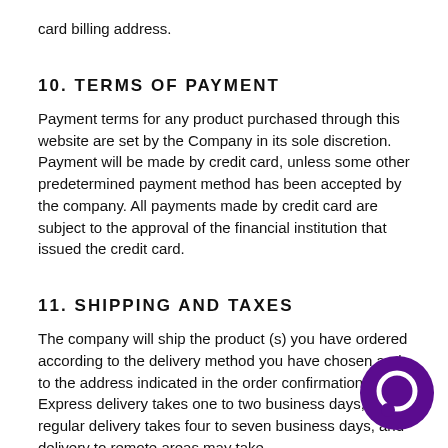card billing address.
10. TERMS OF PAYMENT
Payment terms for any product purchased through this website are set by the Company in its sole discretion. Payment will be made by credit card, unless some other predetermined payment method has been accepted by the company. All payments made by credit card are subject to the approval of the financial institution that issued the credit card.
11. SHIPPING AND TAXES
The company will ship the product (s) you have ordered according to the delivery method you have chosen and to the address indicated in the order confirmation. Express delivery takes one to two business days, regular delivery takes four to seven business days, and delivery to remote areas may take